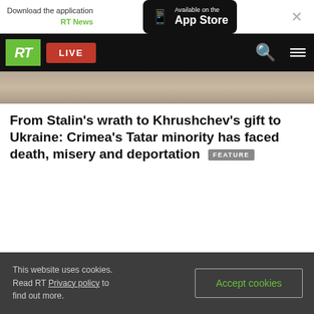Download the application RT News — Available on the App Store
[Figure (screenshot): RT website navigation bar with green RT logo, red LIVE button, search icon, and hamburger menu on black background]
[Figure (photo): Partial photo strip showing people in background, partially obscured by navigation bar]
From Stalin's wrath to Khrushchev's gift to Ukraine: Crimea's Tatar minority has faced death, misery and deportation
FEATURE
This website uses cookies. Read RT Privacy policy to find out more.
Accept cookies